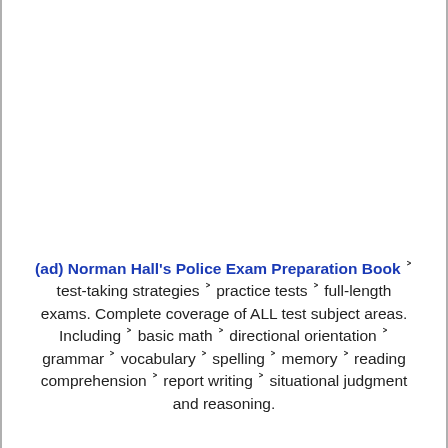(ad) Norman Hall's Police Exam Preparation Book › test-taking strategies › practice tests › full-length exams. Complete coverage of ALL test subject areas. Including › basic math › directional orientation › grammar › vocabulary › spelling › memory › reading comprehension › report writing › situational judgment and reasoning.